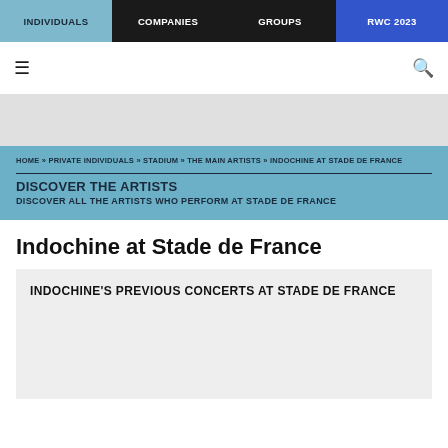INDIVIDUALS | COMPANIES | GROUPS | RWC 2023
HOME » PRIVATE INDIVIDUALS » STADIUM » THE MAIN ARTISTS » INDOCHINE AT STADE DE FRANCE
DISCOVER THE ARTISTS
DISCOVER ALL THE ARTISTS WHO PERFORM AT STADE DE FRANCE
Indochine at Stade de France
INDOCHINE'S PREVIOUS CONCERTS AT STADE DE FRANCE